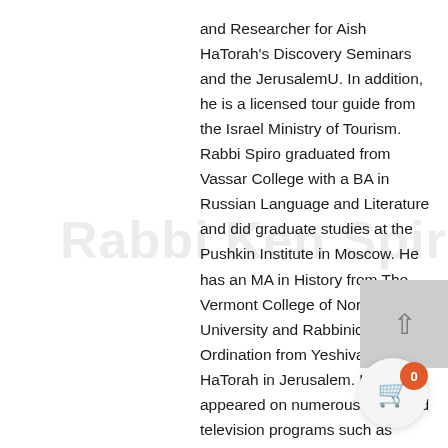and Researcher for Aish HaTorah's Discovery Seminars and the JerusalemU. In addition, he is a licensed tour guide from the Israel Ministry of Tourism. Rabbi Spiro graduated from Vassar College with a BA in Russian Language and Literature and did graduate studies at the Pushkin Institute in Moscow. He has an MA in History from The Vermont College of Norwich University and Rabbinic Ordination from Yeshiva Aish HaTorah in Jerusalem. He has appeared on numerous radio and television programs such as B.B.C. Radio and TV., The National Geographic Channel, The History Channel, Channel 4 England and Arutz Sheva-Israel National Radio. He is the author of WorldPerfect – The Jewish Impact on Civilization published by HCI books and Crash Course in Jewish History published by Targum Press. His writings and seminars can be accessed on this website and www.aish.com. Born and raised in the U.S. Rabbi Spiro has lived in Israel since 1982. He served in a co... infantry unit in the IDF and currently lives in Giva... with his wife and five children.